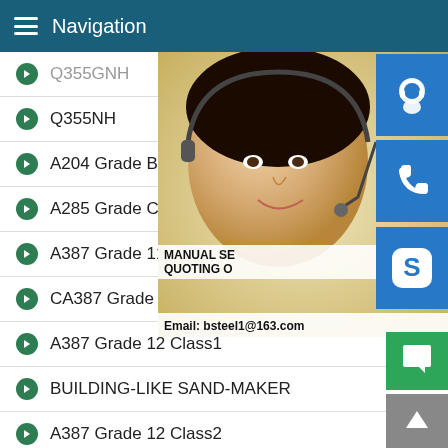Navigation
Q355GNH
Q355NH
A204 Grade B
A285 Grade C
A387 Grade 11 Class1
CA387 Grade 11 Class2
A387 Grade 12 Class1
BUILDING-LIKE SAND-MAKER
A387 Grade 12 Class2
A516 Grade 70
A537 Class 1
P335CH
[Figure (photo): Customer service representative woman with headset, overlaid with blue icon buttons for chat, phone, and Skype, text showing MANUAL SE..., QUOTING O..., Email: bsteel1@163.com]